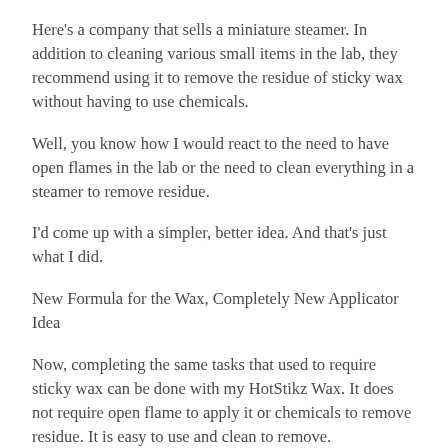Here's a company that sells a miniature steamer. In addition to cleaning various small items in the lab, they recommend using it to remove the residue of sticky wax without having to use chemicals.
Well, you know how I would react to the need to have open flames in the lab or the need to clean everything in a steamer to remove residue.
I'd come up with a simpler, better idea. And that's just what I did.
New Formula for the Wax, Completely New Applicator Idea
Now, completing the same tasks that used to require sticky wax can be done with my HotStikz Wax. It does not require open flame to apply it or chemicals to remove residue. It is easy to use and clean to remove.
It comes in a tidy little gun, with all the wax fully enclosed so you don't have to deal with broken pieces. The gun will